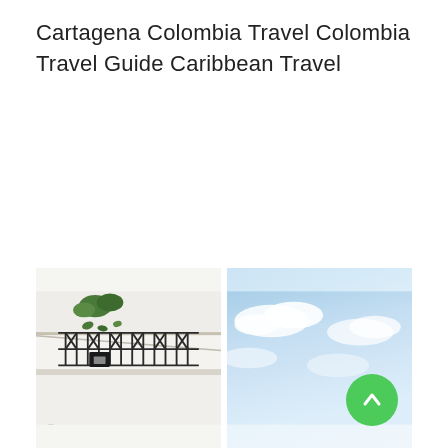Cartagena Colombia Travel Colombia Travel Guide Caribbean Travel
[Figure (photo): Left: Close-up of a white building facade with ornate black wrought-iron balcony railing and hanging green plants. Right: Blue sky with clouds, with a green scroll-to-top button in the bottom right corner.]